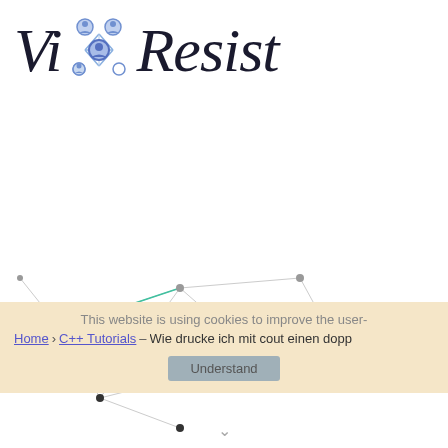[Figure (logo): VisResist logo with network graph icon between 'Vi' and 'Resist' in italic serif font]
[Figure (network-graph): Network graph with nodes and edges in light gray/teal on white background, partially behind cookie banner]
This website is using cookies to improve the user-
Home › C++ Tutorials – Wie drucke ich mit cout einen dopp
Understand